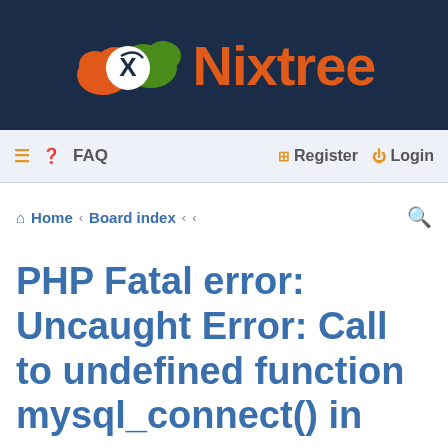[Figure (logo): Nixtree logo: orange and green cloud shapes with white X, followed by 'Nixtree' in orange text on dark navy background]
≡ ? FAQ   ⊞ Register ⏻ Login
⌂ Home ‹ Board index ‹ ‹
PHP Fatal error: Uncaught Error: Call to undefined function mysql_connect() in
Moderator: Staff
Post Reply   🔧 ▾   5 posts • Page 1 of 1